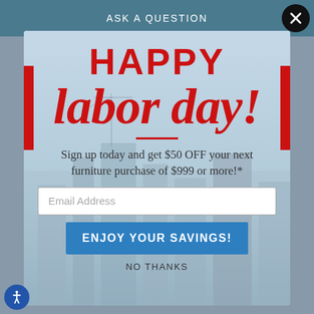ASK A QUESTION
HAPPY labor day!
Sign up today and get $50 OFF your next furniture purchase of $999 or more!*
Email Address
ENJOY YOUR SAVINGS!
NO THANKS